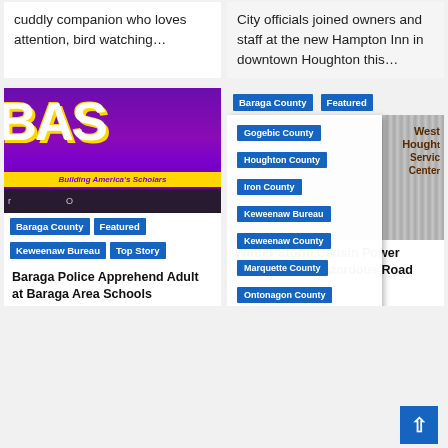cuddly companion who loves attention, bird watching…
City officials joined owners and staff at the new Hampton Inn in downtown Houghton this…
[Figure (logo): BAS - Building America's Scholars purple and gold logo image with article image overlay]
Baraga County
Featured
Keweenaw Bureau
Top Story
[Figure (photo): Metal/aluminum service center sign reading West Houghton Service Center with dropdown menu overlay]
Baraga County
Featured
Gogebic County
Houghton County
Iron County
Keweenaw Bureau
Keweenaw County
Marquette County
Ontonagon County
Top Story
Baraga Police Apprehend Adult at Baraga Area Schools
Winter Storm Causing Power Outages and Hazardous Road